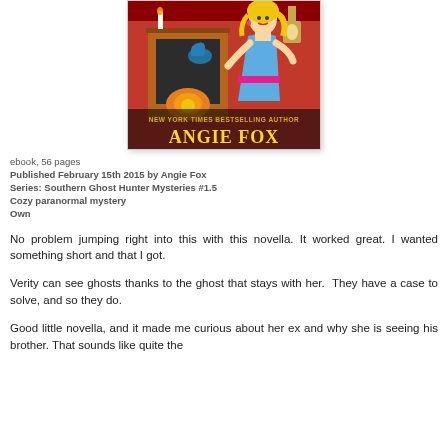[Figure (illustration): Book cover illustration showing a blonde woman in a blue dress near a fireplace, with text 'NEW YORK TIMES BESTSELLING AUTHOR ANGIE FOX']
ebook, 56 pages
Published February 15th 2015 by Angie Fox
Series: Southern Ghost Hunter Mysteries #1.5
Cozy paranormal mystery
Own
No problem jumping right into this with this novella. It worked great. I wanted something short and that I got.
Verity can see ghosts thanks to the ghost that stays with her.  They have a case to solve, and so they do.
Good little novella, and it made me curious about her ex and why she is seeing his brother. That sounds like quite the